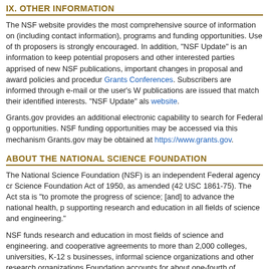IX. OTHER INFORMATION
The NSF website provides the most comprehensive source of information on (including contact information), programs and funding opportunities. Use of the website by proposers is strongly encouraged. In addition, "NSF Update" is an information service to keep potential proposers and other interested parties apprised of new NSF publications, important changes in proposal and award policies and procedures, Grants Conferences. Subscribers are informed through e-mail or the user's website publications are issued that match their identified interests. "NSF Update" also website.
Grants.gov provides an additional electronic capability to search for Federal grant opportunities. NSF funding opportunities may be accessed via this mechanism. Grants.gov may be obtained at https://www.grants.gov.
ABOUT THE NATIONAL SCIENCE FOUNDATION
The National Science Foundation (NSF) is an independent Federal agency created by the National Science Foundation Act of 1950, as amended (42 USC 1861-75). The Act states that NSF's mission is "to promote the progress of science; [and] to advance the national health, prosperity and welfare by supporting research and education in all fields of science and engineering."
NSF funds research and education in most fields of science and engineering. NSF makes grants and cooperative agreements to more than 2,000 colleges, universities, K-12 school systems, businesses, informal science organizations and other research organizations throughout the US. The Foundation accounts for about one-fourth of Federal support to academic institutions.
NSF receives approximately 55,000 proposals each year for research, education and training, of which approximately 11,000 are funded. In addition, the Foundation receives